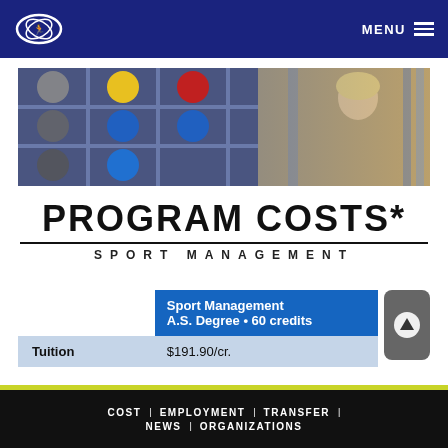MENU
[Figure (photo): Fitness/sport management room with colored exercise balls on shelves and a smiling blonde woman]
PROGRAM COSTS* SPORT MANAGEMENT
|  | Sport Management A.S. Degree • 60 credits |
| --- | --- |
| Tuition | $191.90/cr. |
COST | EMPLOYMENT | TRANSFER | NEWS | ORGANIZATIONS